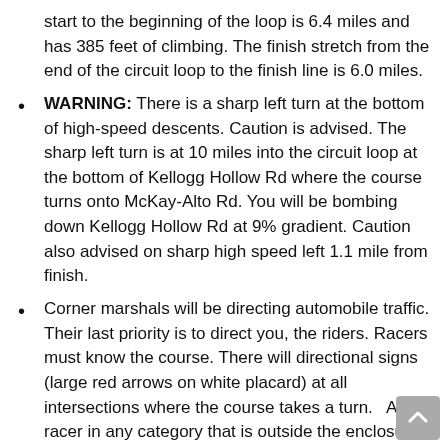start to the beginning of the loop is 6.4 miles and has 385 feet of climbing.  The finish stretch from the end of the circuit loop to the finish line is 6.0 miles.
WARNING: There is a sharp left turn at the bottom of high-speed descents. Caution is advised.  The sharp left turn is at 10 miles into the circuit loop at the bottom of Kellogg Hollow Rd where the course turns onto McKay-Alto Rd.  You will be bombing down Kellogg Hollow Rd at 9% gradient.  Caution also advised on sharp high speed left 1.1 mile from finish.
Corner marshals will be directing automobile traffic.  Their last priority is to direct you, the riders.  Racers must know the course.  There will directional signs (large red arrows on white placard) at all intersections where the course takes a turn.   Any racer in any category that is outside the enclosure must stay to the right of the center line at all times, including on the corners
The neutral feed will be on Whetstone Rd across from